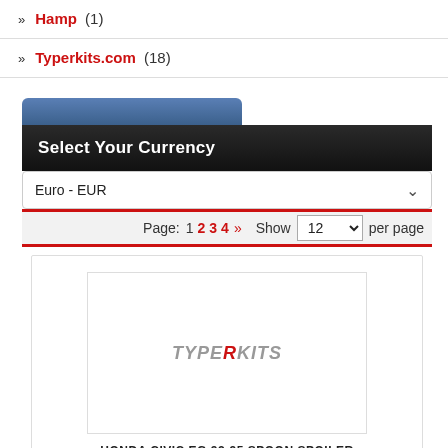Hamp (1)
Typerkits.com (18)
Select Your Currency
Euro - EUR
Page: 1 2 3 4 >> Show 12 per page
[Figure (screenshot): Product image placeholder with TypeRkits logo]
HONDA CIVIC EG 92-95 SPOON SPOILER